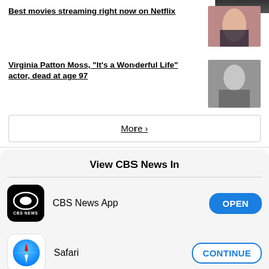[Figure (screenshot): Partial thumbnail image at top right]
Best movies streaming right now on Netflix
[Figure (photo): Thumbnail of two women at an event]
Virginia Patton Moss, "It's a Wonderful Life" actor, dead at age 97
[Figure (photo): Black and white thumbnail of Virginia Patton Moss]
More >
View CBS News In
CBS News App
OPEN
Safari
CONTINUE